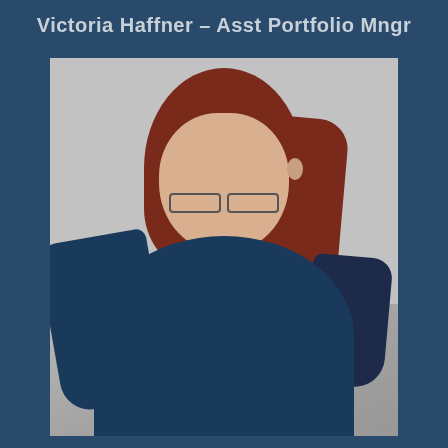Victoria Haffner – Asst Portfolio Mngr
[Figure (photo): Professional headshot of Victoria Haffner, a woman with red hair pulled back, wearing glasses and a navy blue top with a necklace, smiling against a gray background.]